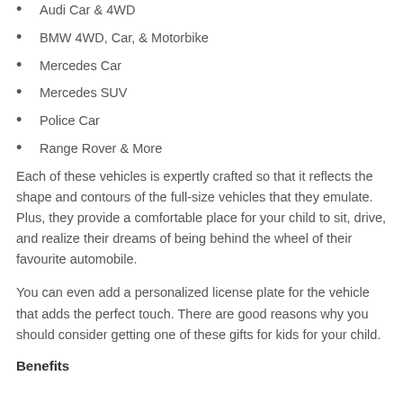Audi Car & 4WD
BMW 4WD, Car, & Motorbike
Mercedes Car
Mercedes SUV
Police Car
Range Rover & More
Each of these vehicles is expertly crafted so that it reflects the shape and contours of the full-size vehicles that they emulate. Plus, they provide a comfortable place for your child to sit, drive, and realize their dreams of being behind the wheel of their favourite automobile.
You can even add a personalized license plate for the vehicle that adds the perfect touch. There are good reasons why you should consider getting one of these gifts for kids for your child.
Benefits